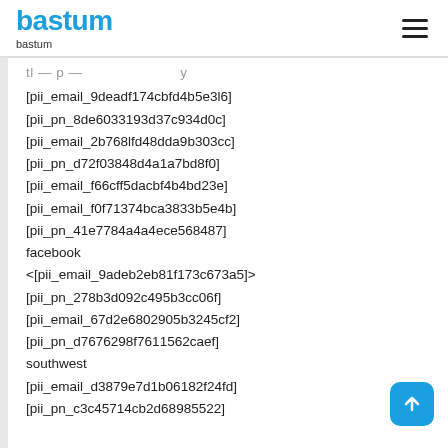bastum
bastum
[pii_email_9deadf174cbfd4b5e3l6]
[pii_pn_8de6033193d37c934d0c]
[pii_email_2b768lfd48dda9b303cc]
[pii_pn_d72f03848d4a1a7bd8f0]
[pii_email_f66cff5dacbf4b4bd23e]
[pii_email_f0f71374bca3833b5e4b]
[pii_pn_41e7784a4a4ece568487]
facebook
<[pii_email_9adeb2eb81f173c673a5]>
[pii_pn_278b3d092c495b3cc06f]
[pii_email_67d2e6802905b3245cf2]
[pii_pn_d7676298f7611562caef]
southwest
[pii_email_d3879e7d1b06182f24fd]
[pii_pn_c3c45714cb2d68985522]